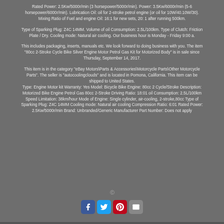Rated Power: 2.5Kw/5000r/min (3 horsepower/5000r/min). Power: 3.5Kw/6000r/min (5-6 horsepower/6000r/min). Lubrication Oil: oil for 2-stroke petrol engine (or oil for 10W/40.10W/30). Mixing Ratio of Fuel and engine Oil: 16:1 for new sets, 20: 1 after running 500km.
Type of Sparking Plug: Z4C 14MM. Volume of oil Consumption: 2.5L/100km. Type of Clutch: Friction Plate / Dry. Cooling mode: Natural air cooling. Our business hour is Monday - Friday 9:00 a.
This includes packaging, inserts, manuals etc. We look forward to doing business with you. The item "80cc 2-Stroke Cycle Bike Silver Engine Motor Petrol Gas Kit for Motorized Body" is in sale since Thursday, September 14, 2017.
This item is in the category "eBay Motors\Parts & Accessories\Motorcycle Parts\Other Motorcycle Parts". The seller is "autocoolingclouds" and is located in Pomona, California. This item can be shipped to United States.
Type: Engine Motor kit Warranty: Yes Model: Bicycle Bike Engine: 80cc 2 Cycle/Stroke Description: Motorized Bike Engine Petrol Gas 80cc 2-Stroke Driving Ratio: 18:01 oil Consumption: 2.5L/100km Speed Limitation: 38km/hour Mode of Engine: Single cylinder, air-cooling, 2-stroke,80cc Type of Sparking Plug: Z4C 14MM Cooling mode: Natural air cooling Compression Ratio: 6:01 Rated Power: 2.5Kw/5000r/min Brand: Unbranded/Generic Manufacturer Part Number: Does not apply